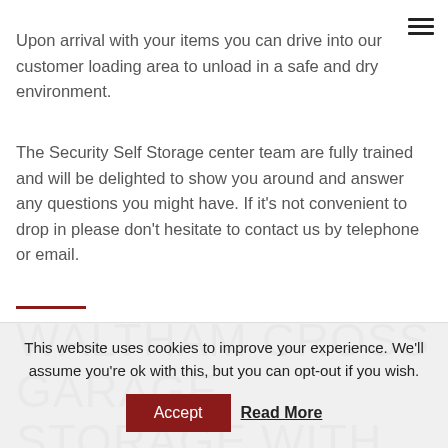Upon arrival with your items you can drive into our customer loading area to unload in a safe and dry environment.
The Security Self Storage center team are fully trained and will be delighted to show you around and answer any questions you might have. If it's not convenient to drop in please don't hesitate to contact us by telephone or email.
WALTHAM CROSS GARAGE STORAGE WITH SECURITY
This website uses cookies to improve your experience. We'll assume you're ok with this, but you can opt-out if you wish.